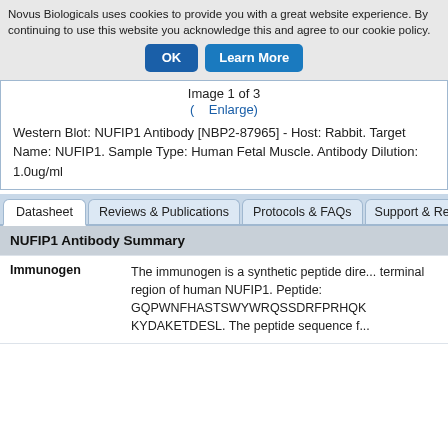Novus Biologicals uses cookies to provide you with a great website experience. By continuing to use this website you acknowledge this and agree to our cookie policy.
OK   Learn More
Image 1 of 3
( Enlarge)
Western Blot: NUFIP1 Antibody [NBP2-87965] - Host: Rabbit. Target Name: NUFIP1. Sample Type: Human Fetal Muscle. Antibody Dilution: 1.0ug/ml
Datasheet   Reviews & Publications   Protocols & FAQs   Support & Rese...
NUFIP1 Antibody Summary
|  |  |
| --- | --- |
| Immunogen | The immunogen is a synthetic peptide dire... terminal region of human NUFIP1. Peptide: GQPWNFHASTSWYWRQSSDRFPRHQK KYDAKETDESL. The peptide sequence f... |